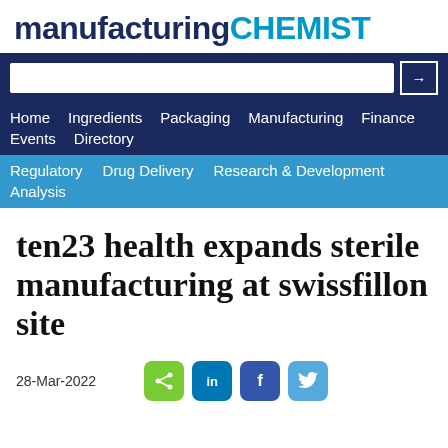manufacturing CHEMIST
[Figure (screenshot): Website navigation bar with search box, main nav links (Home, Ingredients, Packaging, Manufacturing, Finance, Events, Directory) on dark blue background, and sub-nav links (Regulatory, Drug Delivery, Research & Development, Analysis) on medium blue background]
ten23 health expands sterile manufacturing at swissfillon site
28-Mar-2022
[Figure (infographic): Social sharing buttons: green share button, LinkedIn blue button, Facebook blue button, Twitter light blue button]